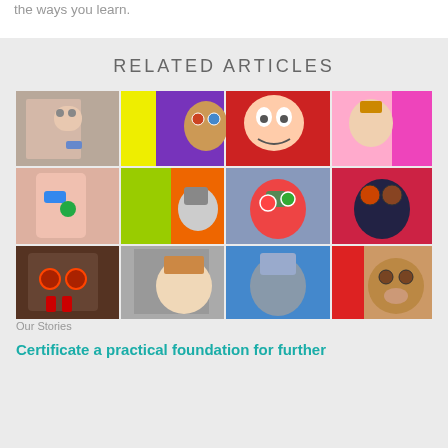the ways you learn.
RELATED ARTICLES
[Figure (photo): A 3x4 mosaic grid of people wearing creative masks/costumes and colorful blocks, part of an article about creative learning]
Our Stories
Certificate a practical foundation for further